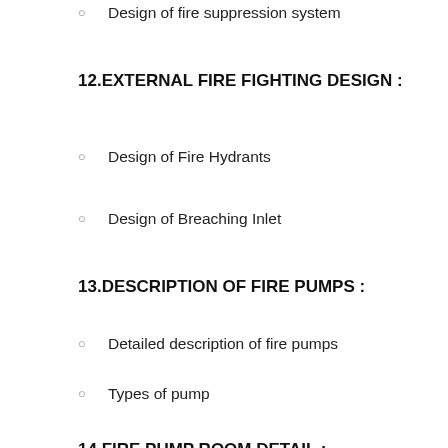Design of fire suppression system
12.EXTERNAL FIRE FIGHTING DESIGN :
Design of Fire Hydrants
Design of Breaching Inlet
13.DESCRIPTION OF FIRE PUMPS :
Detailed description of fire pumps
Types of pump
14.FIRE PUMP ROOM DETAIL :
Fire pump installation details